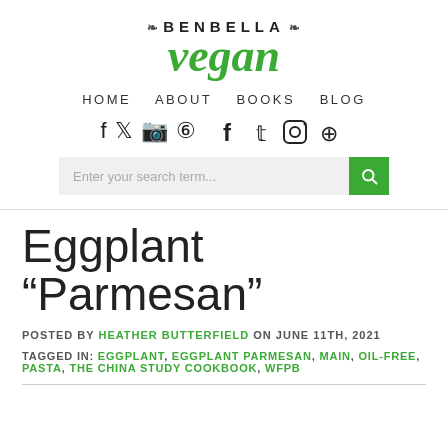[Figure (logo): BenBella Vegan logo with decorative leaf marks, 'BENBELLA' in bold uppercase small text and 'vegan' in large green italic script below]
HOME  ABOUT  BOOKS  BLOG
[Figure (other): Social media icons: Facebook, Twitter, Instagram, Pinterest]
[Figure (other): Search bar with placeholder 'Enter your search term...' and green search button]
Eggplant “Parmesan”
POSTED BY HEATHER BUTTERFIELD ON JUNE 11TH, 2021
TAGGED IN: EGGPLANT, EGGPLANT PARMESAN, MAIN, OIL-FREE, PASTA, THE CHINA STUDY COOKBOOK, WFPB